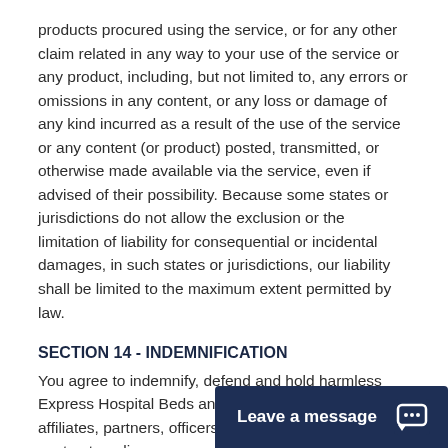products procured using the service, or for any other claim related in any way to your use of the service or any product, including, but not limited to, any errors or omissions in any content, or any loss or damage of any kind incurred as a result of the use of the service or any content (or product) posted, transmitted, or otherwise made available via the service, even if advised of their possibility. Because some states or jurisdictions do not allow the exclusion or the limitation of liability for consequential or incidental damages, in such states or jurisdictions, our liability shall be limited to the maximum extent permitted by law.
SECTION 14 - INDEMNIFICATION
You agree to indemnify, defend and hold harmless Express Hospital Beds and our parent, subsidiaries, affiliates, partners, officers, directors, agents, contractors, licensors, service providers, subcontractors, suppliers, interns and employees, harmless from any